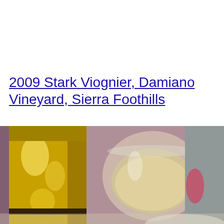2009 Stark Viognier, Damiano Vineyard, Sierra Foothills
[Figure (photo): A golden wine bottle on the left and a wine glass filled with white/light wine on the right, photographed at a restaurant or dining setting]